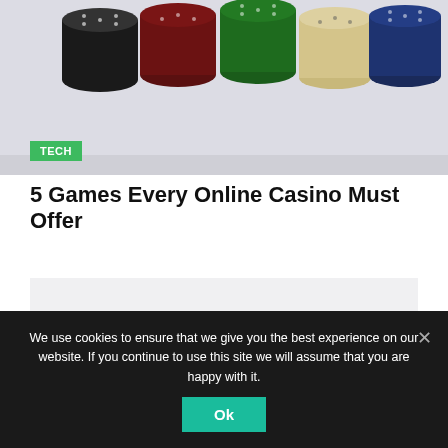[Figure (photo): Casino poker chips stacked in various colors (black, dark red, green, cream/beige, blue) on a light background]
5 Games Every Online Casino Must Offer
[Figure (other): Advertisement placeholder block (grey rectangle)]
We use cookies to ensure that we give you the best experience on our website. If you continue to use this site we will assume that you are happy with it.